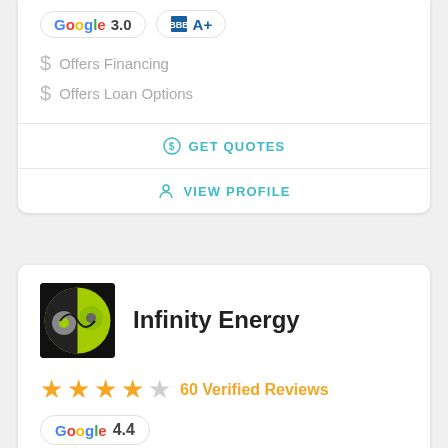[Figure (infographic): Rating badges showing Google 3.0 and BBB A+]
Offers Financing
Offers Loan Options
GET QUOTES
VIEW PROFILE
[Figure (logo): Infinity Energy logo - green and grey circular yin-yang style icon on black background]
Infinity Energy
60 Verified Reviews
[Figure (infographic): Google rating badge showing G 4.4]
Infinity Energy cares about adding value to our customers lives and no material thing is more...